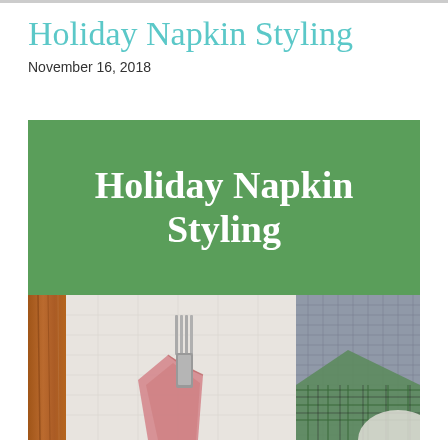Holiday Napkin Styling
November 16, 2018
[Figure (photo): Blog post header image with green banner overlay reading 'Holiday Napkin Styling' in bold white serif font, and a photo below showing a pink napkin folded around silver cutlery (fork) on a white linen tablecloth, with a plaid green/grey napkin visible to the right side, and wooden table edge on the left.]